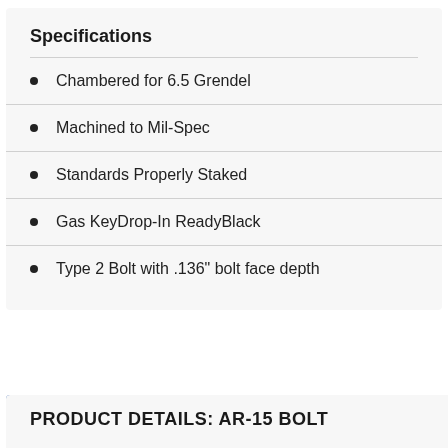Specifications
Chambered for 6.5 Grendel
Machined to Mil-Spec
Standards Properly Staked
Gas KeyDrop-In ReadyBlack
Type 2 Bolt with .136″ bolt face depth
PRODUCT DETAILS: AR-15 BOLT